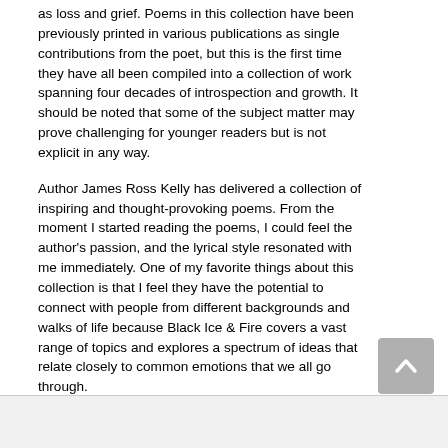as loss and grief. Poems in this collection have been previously printed in various publications as single contributions from the poet, but this is the first time they have all been compiled into a collection of work spanning four decades of introspection and growth. It should be noted that some of the subject matter may prove challenging for younger readers but is not explicit in any way.
Author James Ross Kelly has delivered a collection of inspiring and thought-provoking poems. From the moment I started reading the poems, I could feel the author's passion, and the lyrical style resonated with me immediately. One of my favorite things about this collection is that I feel they have the potential to connect with people from different backgrounds and walks of life because Black Ice & Fire covers a vast range of topics and explores a spectrum of ideas that relate closely to common emotions that we all go through.
My personal favorites from this collection were 'These Pelicans' and 'Sunflower Heads', which I felt particularly highlighted the author's talent for imagery and emotive writing, balancing artistry with raw emotive content expertly. I found the tone of the poems personal yet empowering, and I look forward to reading more of Kelly's work in the future. I would not hesitate to recommend Black Ice & Fire to fans of accessible and descriptive poetry, and those who are looking for a gateway into the genre.